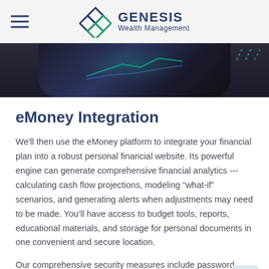GENESIS Wealth Management
[Figure (photo): A dark photograph showing hands on a tablet/phone device with financial charts visible on screen]
eMoney Integration
We'll then use the eMoney platform to integrate your financial plan into a robust personal financial website. Its powerful engine can generate comprehensive financial analytics --- calculating cash flow projections, modeling “what-if” scenarios, and generating alerts when adjustments may need to be made. You'll have access to budget tools, reports, educational materials, and storage for personal documents in one convenient and secure location.
Our comprehensive security measures include password protection, Secure Socket Layer encryption, firewalls,